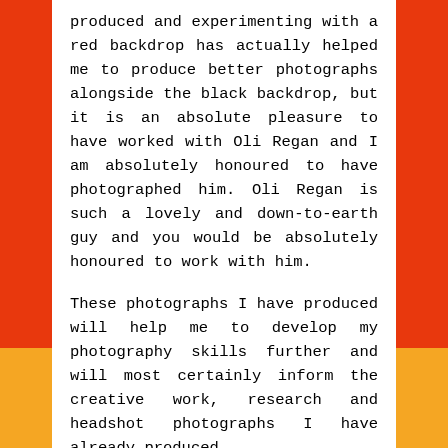produced and experimenting with a red backdrop has actually helped me to produce better photographs alongside the black backdrop, but it is an absolute pleasure to have worked with Oli Regan and I am absolutely honoured to have photographed him. Oli Regan is such a lovely and down-to-earth guy and you would be absolutely honoured to work with him.
These photographs I have produced will help me to develop my photography skills further and will most certainly inform the creative work, research and headshot photographs I have already produced.
The Headshot #4 photographs I have taken of